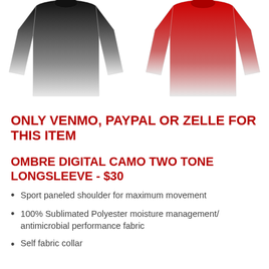[Figure (photo): Two long-sleeve ombre shirts displayed side by side. Left shirt transitions from black at the top to white at the bottom. Right shirt transitions from red at the top to white at the bottom.]
ONLY VENMO, PAYPAL OR ZELLE FOR THIS ITEM
OMBRE DIGITAL CAMO TWO TONE LONGSLEEVE - $30
Sport paneled shoulder for maximum movement
100% Sublimated Polyester moisture management/ antimicrobial performance fabric
Self fabric collar